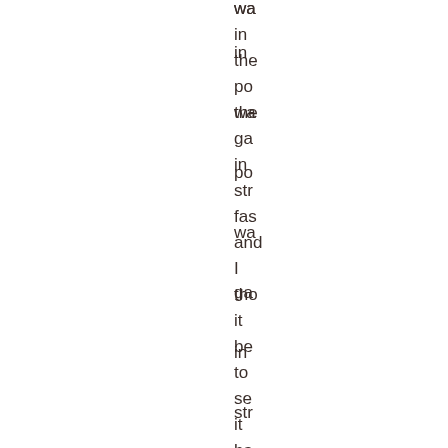wa
in
the
po
wa
ga
in
str
fas
and
I
tho
it
be
to
se
it
ba